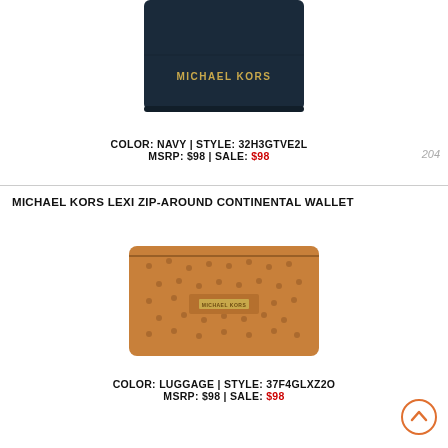[Figure (photo): Michael Kors navy wallet product photo showing bottom portion of a dark navy wallet with gold MICHAEL KORS lettering on the front]
COLOR: NAVY | STYLE: 32H3GTVE2L
MSRP: $98 | SALE: $98
204
MICHAEL KORS LEXI ZIP-AROUND CONTINENTAL WALLET
[Figure (photo): Michael Kors Lexi zip-around continental wallet in luggage color with ostrich embossed leather texture, gold logo plaque on front]
COLOR: LUGGAGE | STYLE: 37F4GLXZ2O
MSRP: $98 | SALE: $98